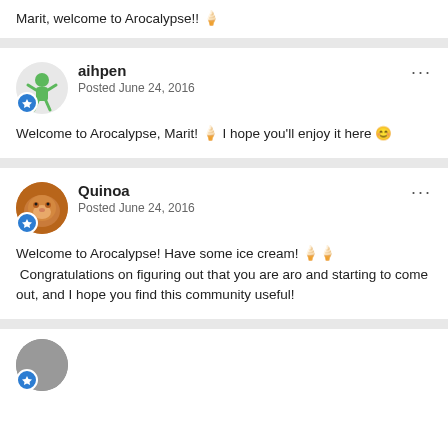Marit, welcome to Arocalypse!! 🍦
aihpen
Posted June 24, 2016

Welcome to Arocalypse, Marit! 🍦 I hope you'll enjoy it here 😊
Quinoa
Posted June 24, 2016

Welcome to Arocalypse! Have some ice cream! 🍦🍦 Congratulations on figuring out that you are aro and starting to come out, and I hope you find this community useful!